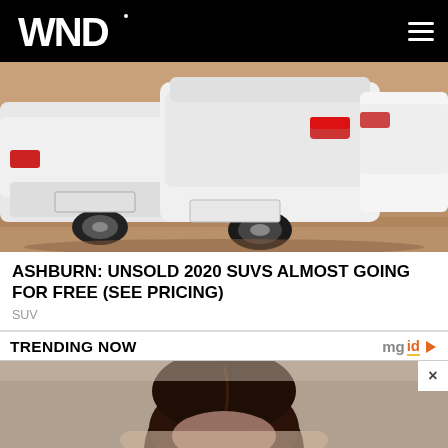WND
[Figure (photo): Rear view of white SUV/sedan cars parked on reddish sandy ground, multiple vehicles visible]
ASHBURN: UNSOLD 2020 SUVS ALMOST GOING FOR FREE (SEE PRICING)
SUV
TRENDING NOW
[Figure (photo): Person with dark hair viewed from behind/top, partial portrait on beige/grey background]
Advertisement
Jason Statham Bought And Sold A Multi-Million Dollar House